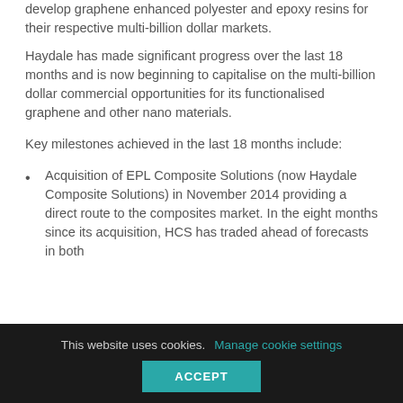develop graphene enhanced polyester and epoxy resins for their respective multi-billion dollar markets.
Haydale has made significant progress over the last 18 months and is now beginning to capitalise on the multi-billion dollar commercial opportunities for its functionalised graphene and other nano materials.
Key milestones achieved in the last 18 months include:
Acquisition of EPL Composite Solutions (now Haydale Composite Solutions) in November 2014 providing a direct route to the composites market. In the eight months since its acquisition, HCS has traded ahead of forecasts in both
This website uses cookies.
Manage cookie settings
ACCEPT